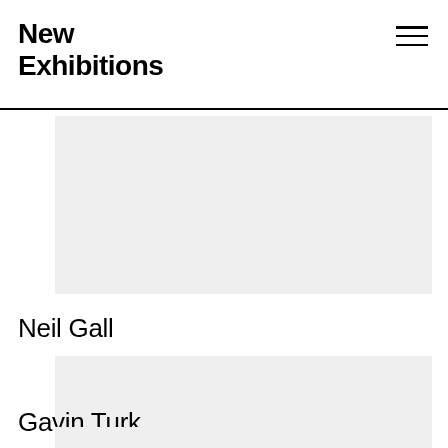New Exhibitions
[Figure (photo): Gray placeholder image for first exhibition]
Neil Gall
[Figure (photo): Gray placeholder image for Neil Gall exhibition]
Gavin Turk
[Figure (photo): Gray placeholder image for Gavin Turk exhibition (partially visible)]